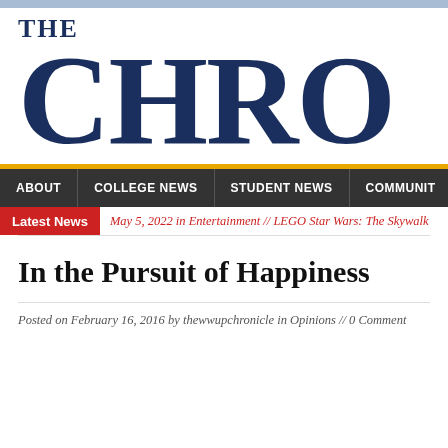THE CHRO
ABOUT | COLLEGE NEWS | STUDENT NEWS | COMMUNIT
Latest News  May 5, 2022 in Entertainment // LEGO Star Wars: The Skywalk
In the Pursuit of Happiness
Posted on February 16, 2016 by thewwupchronicle in Opinions // 0 Comment